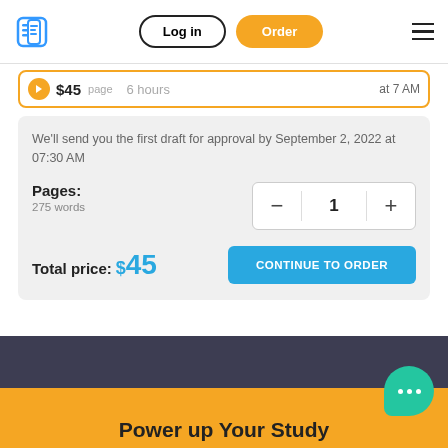Log in | Order
$45 page  6 hours  at 7 AM
We'll send you the first draft for approval by September 2, 2022 at 07:30 AM
Pages:
275 words
Total price: $45
CONTINUE TO ORDER
Power up Your Study